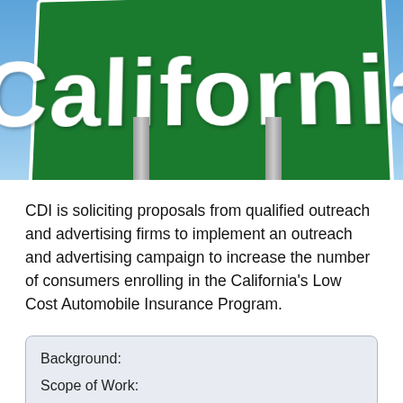[Figure (photo): Photo of a green highway road sign reading 'California' with white text, mounted on metal poles against a blue sky background.]
CDI is soliciting proposals from qualified outreach and advertising firms to implement an outreach and advertising campaign to increase the number of consumers enrolling in the California's Low Cost Automobile Insurance Program.
| Background: |
| Scope of Work: |
| Due Date: |
| Address: |
| Top Public Relations News: |